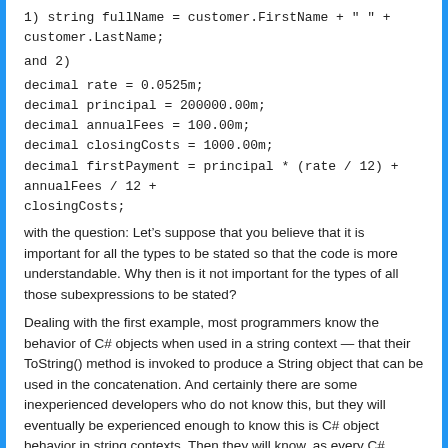1) string fullName = customer.FirstName + " " + customer.LastName;
and 2)
decimal rate = 0.0525m;
decimal principal = 200000.00m;
decimal annualFees = 100.00m;
decimal closingCosts = 1000.00m;
decimal firstPayment = principal * (rate / 12) + annualFees / 12 + closingCosts;
with the question: Let’s suppose that you believe that it is important for all the types to be stated so that the code is more understandable. Why then is it not important for the types of all those subexpressions to be stated?
Dealing with the first example, most programmers know the behavior of C# objects when used in a string context — that their ToString() method is invoked to produce a String object that can be used in the concatenation. And certainly there are some inexperienced developers who do not know this, but they will eventually be experienced enough to know this is C# object behavior in string contexts. Then they will know, as every C# developer should, what type these subexpression objects are in a string context — and how they got to that type. In essence, this common knowledge means that these subexpressions actually are of known type to almost all experienced